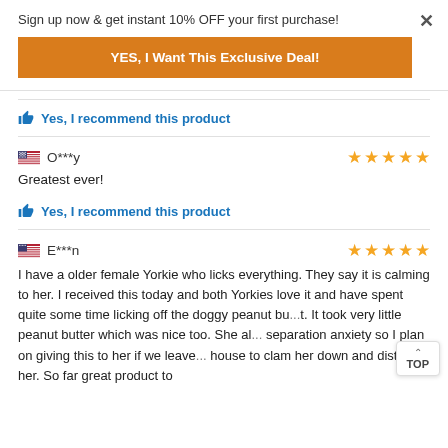Sign up now & get instant 10% OFF your first purchase!
YES, I Want This Exclusive Deal!
👍 Yes, I recommend this product
O***y
Greatest ever!
👍 Yes, I recommend this product
E***n
I have a older female Yorkie who licks everything. They say it is calming to her. I received this today and both Yorkies love it and have spent quite some time licking off the doggy peanut bu...t. It took very little peanut butter which was nice too. She al... separation anxiety so I plan on giving this to her if we leave... house to clam her down and distract her. So far great product to